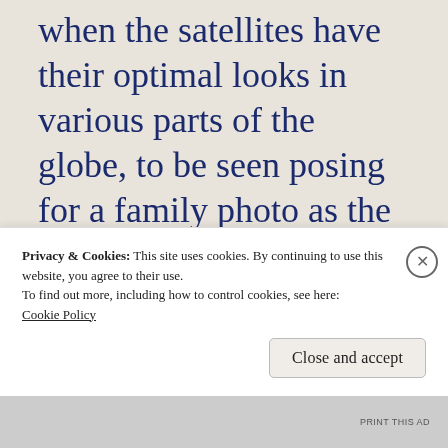when the satellites have their optimal looks in various parts of the globe, to be seen posing for a family photo as the war started.

One serious point as well.  There was a lot of disappointment on Thursday that Biden hasn't elected
Privacy & Cookies: This site uses cookies. By continuing to use this website, you agree to their use.
To find out more, including how to control cookies, see here:
Cookie Policy
Close and accept